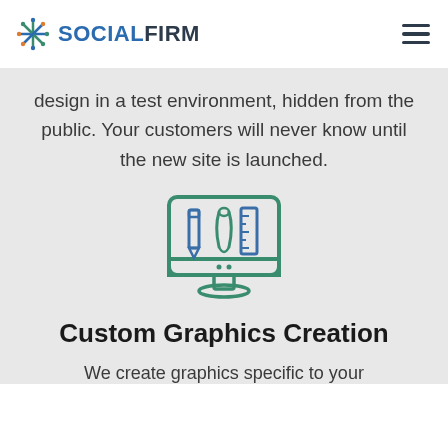SOCIALFIRM
design in a test environment, hidden from the public. Your customers will never know until the new site is launched.
[Figure (illustration): Icon of a desktop computer monitor displaying design tools: pencil, paint brush/pen tool, and ruler, with a teal/green outline style]
Custom Graphics Creation
We create graphics specific to your